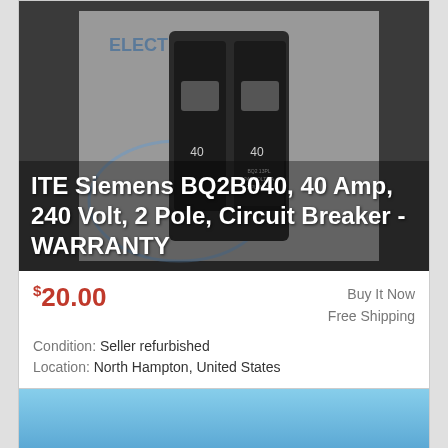[Figure (photo): Photo of ITE Siemens BQ2B040 circuit breaker, a double-pole breaker with '40' markings on each pole, on a white background with blue logo visible.]
ITE Siemens BQ2B040, 40 Amp, 240 Volt, 2 Pole, Circuit Breaker - WARRANTY
$20.00
Buy It Now
Free Shipping
Condition: Seller refurbished
Location: North Hampton, United States
40 Amp, 240 Volt, 2 Pole. The Electric Barn has thousands of Electrical Supplies. RECONDITIONED CIRCUIT BREAKERS WITH TEST REPORT: Reconditioned circuit ... more
[Figure (photo): Partial photo of another product listing, showing a light blue background.]